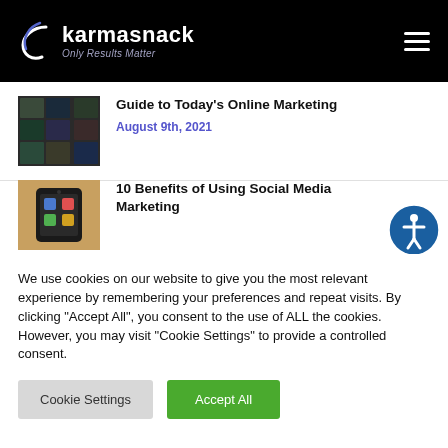karmasnack — Only Results Matter
[Figure (illustration): Thumbnail image of a grid of dark tiles/screens representing online marketing content]
Guide to Today's Online Marketing
August 9th, 2021
[Figure (photo): Thumbnail image of a smartphone showing social media app icons]
10 Benefits of Using Social Media Marketing
We use cookies on our website to give you the most relevant experience by remembering your preferences and repeat visits. By clicking "Accept All", you consent to the use of ALL the cookies. However, you may visit "Cookie Settings" to provide a controlled consent.